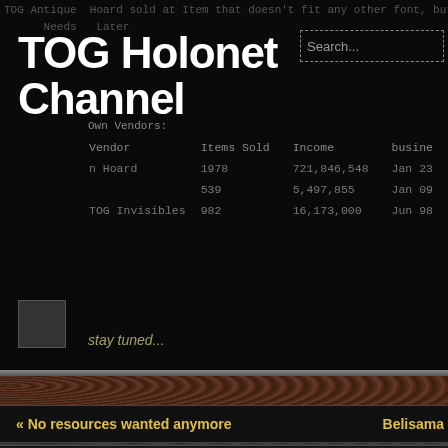TOG Holonet Channel
TOG Antique Hoard sold at Item that doesn't fit any other font, but also crater survey tools, interplanetary...
| Vendor | Items Sold | Income | busine |
| --- | --- | --- | --- |
| n Hoard | 1978 | 721,846,548 | Jan 23 |
|  | 539 | 5,497,855 | Jan 09 |
| TOG Invisibles | 982 | 16,173,000 | Jun 98 |
stay tuned...
[Figure (screenshot): Small thumbnail/image placeholder]
« No resources wanted anymore
Belisama
No resources wanted anymore
Erstellt am Oktober 28, 2011 von Belisama. Kategorien: Resources, TOG News, Zounds.
i am sorry, but i will stop buying resources from now on. But if you want to buy resources: I lowering the sale-prices (even f
« Renko – Statistics of Wanderhome